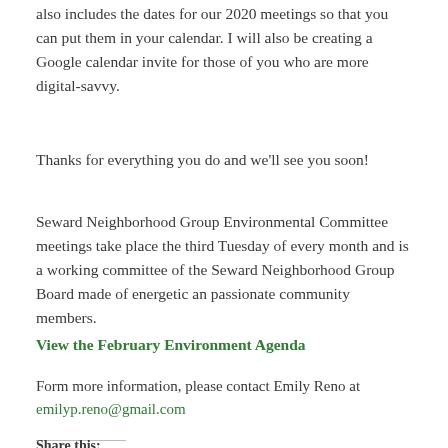also includes the dates for our 2020 meetings so that you can put them in your calendar. I will also be creating a Google calendar invite for those of you who are more digital-savvy.
Thanks for everything you do and we'll see you soon!
Seward Neighborhood Group Environmental Committee meetings take place the third Tuesday of every month and is a working committee of the Seward Neighborhood Group Board made of energetic an passionate community members.
View the February Environment Agenda
Form more information, please contact Emily Reno at emilyp.reno@gmail.com
Share this: